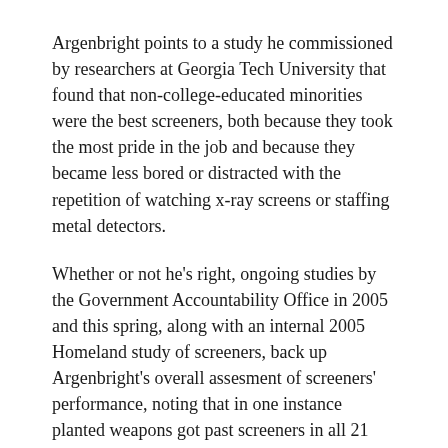Argenbright points to a study he commissioned by researchers at Georgia Tech University that found that non-college-educated minorities were the best screeners, both because they took the most pride in the job and because they became less bored or distracted with the repetition of watching x-ray screens or staffing metal detectors.
Whether or not he's right, ongoing studies by the Government Accountability Office in 2005 and this spring, along with an internal 2005 Homeland study of screeners, back up Argenbright's overall assesment of screeners' performance, noting that in one instance planted weapons got past screeners in all 21 airports tested. The reports also state screeners are not getting all of the TSA-mandated training and often have criminal backgrounds, and that starting salaries of $24,000 fail to retain employees.
Yolanda Clark of the TSA calls Argenbright's theory "interesting. But there are all sorts of theories," she says. "This agency was set up after 9/11 to serve our country. I don't think